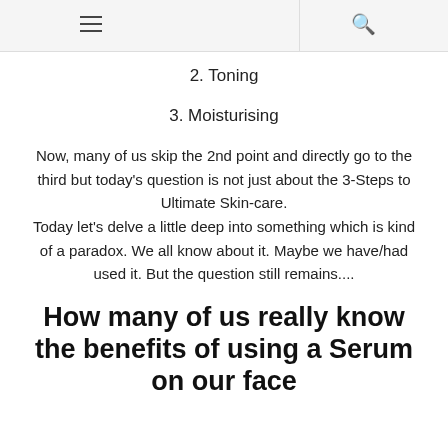≡  🔍
2. Toning
3. Moisturising
Now, many of us skip the 2nd point and directly go to the third but today's question is not just about the 3-Steps to Ultimate Skin-care.
Today let's delve a little deep into something which is kind of a paradox. We all know about it. Maybe we have/had used it. But the question still remains....
How many of us really know the benefits of using a Serum on our face